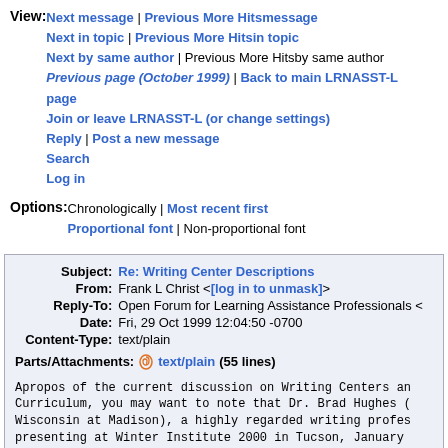View: Next message | Previous More Hitsmessage
Next in topic | Previous More Hitsin topic
Next by same author | Previous More Hitsby same author
Previous page (October 1999) | Back to main LRNASST-L page
Join or leave LRNASST-L (or change settings)
Reply | Post a new message
Search
Log in
Options: Chronologically | Most recent first
Proportional font | Non-proportional font
| Subject | From | Reply-To | Date | Content-Type |
| --- | --- | --- | --- | --- |
| Re: Writing Center Descriptions | Frank L Christ <[log in to unmask]> | Open Forum for Learning Assistance Professionals < | Fri, 29 Oct 1999 12:04:50 -0700 | text/plain |
Parts/Attachments: text/plain (55 lines)
Apropos of the current discussion on Writing Centers an
Curriculum, you may want to note that Dr. Brad Hughes (
Wisconsin at Madison), a highly regarded writing profes
presenting at Winter Institute 2000 in Tucson, January
Brad will be addressing the relationship between learni
and writing programs.

WI 2000:  January 3 -7, 2000.  The Twenty First Institu